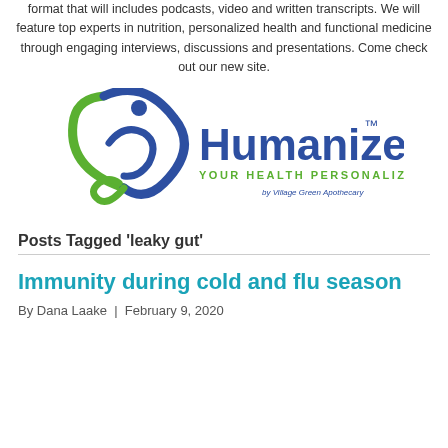format that will includes podcasts, video and written transcripts. We will feature top experts in nutrition, personalized health and functional medicine through engaging interviews, discussions and presentations. Come check out our new site.
[Figure (logo): Humanized logo — YOUR HEALTH PERSONALIZED by Village Green Apothecary]
Posts Tagged 'leaky gut'
Immunity during cold and flu season
By Dana Laake | February 9, 2020